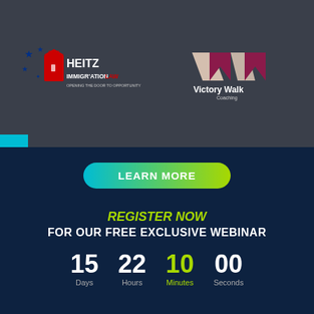[Figure (logo): Heitz Immigration Law logo with stars and door icon, text: HEITZ IMMIGRATION LAW - OPENING THE DOOR TO OPPORTUNITY]
[Figure (logo): Victory Walk Coaching logo with stylized V and W chevron shapes in maroon and beige]
LEARN MORE
REGISTER NOW
FOR OUR FREE EXCLUSIVE WEBINAR
15 Days  22 Hours  10 Minutes  00 Seconds